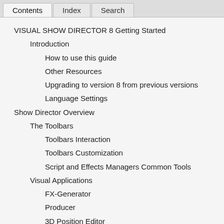Contents | Index | Search
VISUAL SHOW DIRECTOR 8 Getting Started
Introduction
How to use this guide
Other Resources
Upgrading to version 8 from previous versions
Language Settings
Show Director Overview
The Toolbars
Toolbars Interaction
Toolbars Customization
Script and Effects Managers Common Tools
Visual Applications
FX-Generator
Producer
3D Position Editor
Viewer
Interface
Options
Grid Formatting Layouts